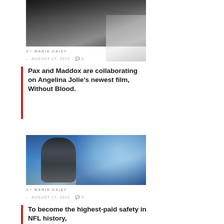[Figure (photo): Woman smiling at a red carpet or formal event, wearing black, with partial text visible in background]
BY MARIA DAISY
— AUGUST 17, 2022  0
Pax and Maddox are collaborating on Angelina Jolie's newest film, Without Blood.
[Figure (photo): NFL player with dreadlocks wearing a blue shirt on football field]
BY MARIA DAISY
— AUGUST 17, 2022  0
To become the highest-paid safety in NFL history, Derwin James signs on...